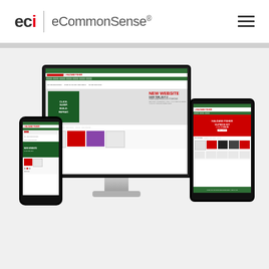[Figure (logo): ECI eCommonSense logo with navigation hamburger icon]
[Figure (screenshot): Haldane Fisher ecommerce website shown on desktop monitor, smartphone, and tablet devices displaying responsive web design with NEW WEBSITE banner, CLICK.SLEEP.BUILD.REPEAT. campaign, and product listings]